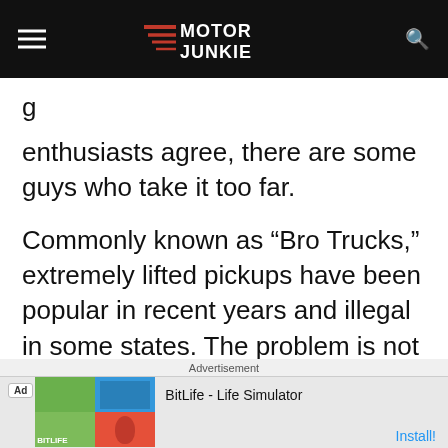Motor Junkie
g enthusiasts agree, there are some guys who take it too far.
Commonly known as “Bro Trucks,” extremely lifted pickups have been popular in recent years and illegal in some states. The problem is not with the concept of more ground clearance. There are
Advertisement | Ad | BitLife - Life Simulator | Install!